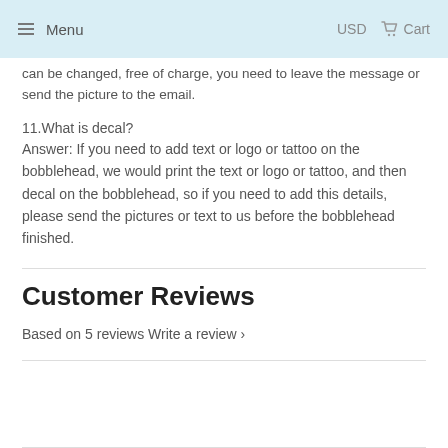Menu   USD   Cart
can be changed, free of charge, you need to leave the message or send the picture to the email.
11.What is decal?
Answer: If you need to add text or logo or tattoo on the bobblehead, we would print the text or logo or tattoo, and then decal on the bobblehead, so if you need to add this details, please send the pictures or text to us before the bobblehead finished.
Customer Reviews
Based on 5 reviews Write a review ›